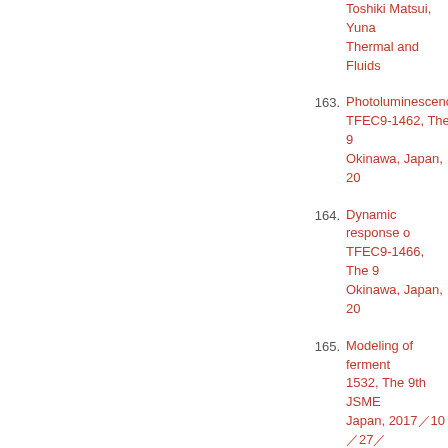Toshiki Matsui, Yuna... Thermal and Fluids...
163. Photoluminescence... TFEC9-1462, The 9... Okinawa, Japan, 20...
164. Dynamic response o... TFEC9-1466, The 9... Okinawa, Japan, 20...
165. Modeling of ferment... 1532, The 9th JSME... Japan, 2017┉10▐27┉...
166. Overall view of ligno... Paksung, Rahmat I.... 29┊, ┊┊, ┊┊
167. Analysis of ethanol f... Conference on Biom...
168. Analysis of individua... Kanna*, Yukihiko Ma... Sendai, Japan, 2018...
169. Behavior of Organic... Ito, Tsunehiro Aki, Y... Biomass Science (A...
170. Rapidly temperature...